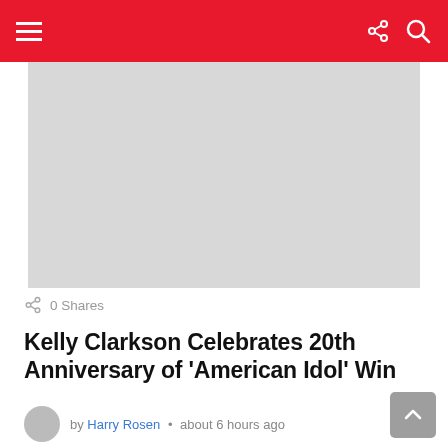Navigation bar with hamburger menu, share icon, and search icon
[Figure (photo): Placeholder hero image (light gray rectangle)]
0 Shares
Kelly Clarkson Celebrates 20th Anniversary of 'American Idol' Win
by Harry Rosen • about 6 hours ago